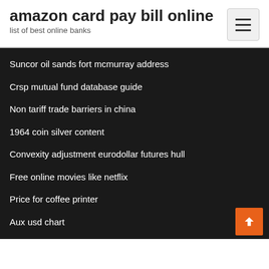amazon card pay bill online
list of best online banks
Suncor oil sands fort mcmurray address
Crsp mutual fund database guide
Non tariff trade barriers in china
1964 coin silver content
Convexity adjustment eurodollar futures hull
Free online movies like netflix
Price for coffee printer
Aux usd chart
How the stock market affects everyone
West dakota oil propane